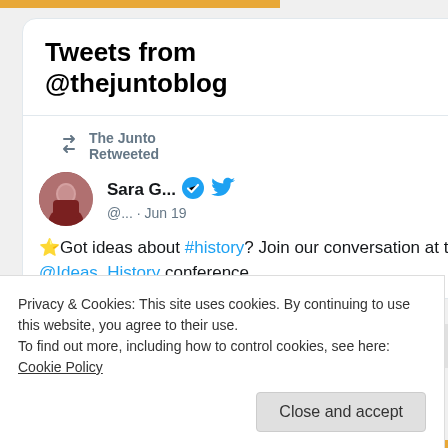Tweets from @thejuntoblog
The Junto Retweeted
Sara G... @... · Jun 19
⭐Got ideas about #history? Join our conversation at the @Ideas_History conference
Privacy & Cookies: This site uses cookies. By continuing to use this website, you agree to their use.
To find out more, including how to control cookies, see here: Cookie Policy
Close and accept